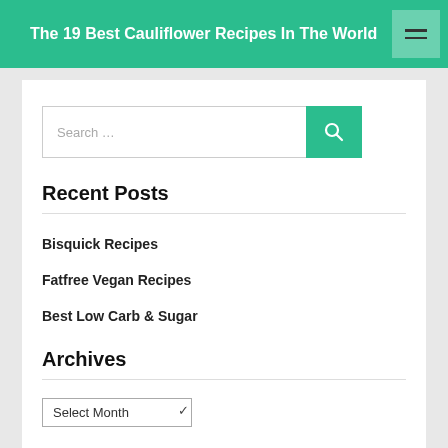The 19 Best Cauliflower Recipes In The World
Search …
Recent Posts
Bisquick Recipes
Fatfree Vegan Recipes
Best Low Carb & Sugar
Archives
Select Month